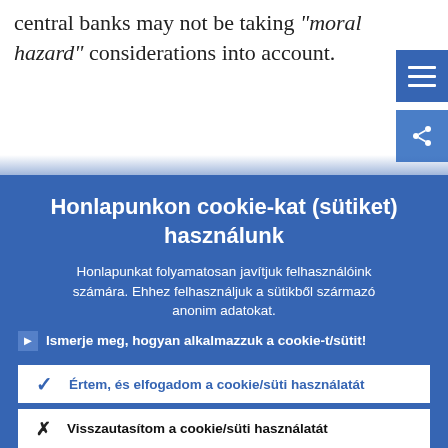central banks may not be taking “moral hazard” considerations into account.
The ECB made it clear from the start of
[Figure (screenshot): Blue hamburger menu button (three horizontal white lines on blue background) in top right corner]
[Figure (screenshot): Blue share icon button in top right corner below menu button]
Honlapunkon cookie-kat (sütiket) használunk
Honlapunkat folyamatosan javítjuk felhasználóink számára. Ehhez felhasználjuk a sütikből származó anonim adatokat.
► Ismerje meg, hogyan alkalmazzuk a cookie-t/sütit!
✓ Értem, és elfogadom a cookie/süti használatát
× Visszautsítom a cookie/süti használatát